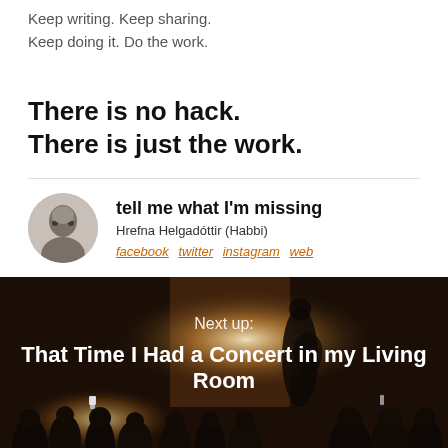Keep writing. Keep sharing.
Keep doing it. Do the work.
There is no hack.
There is just the work.
tell me what I'm missing
Hrefna Helgadóttir (Habbi)
facebook  twitter  instagram  web
[Figure (photo): Dark photo of a concert in a living room with silhouetted audience and performer with a guitar, warm ambient lighting]
Next up:
That Time I Had a Concert in my Living Room